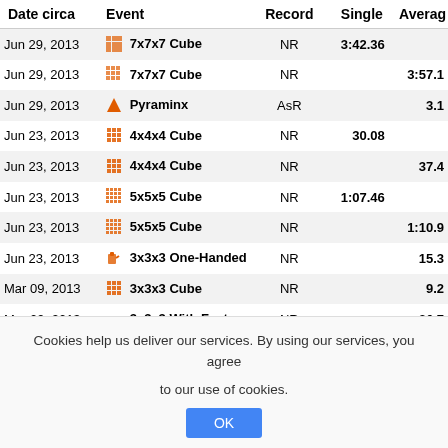| Date circa | Event | Record | Single | Averag |
| --- | --- | --- | --- | --- |
| Jun 29, 2013 | 7x7x7 Cube | NR | 3:42.36 |  |
| Jun 29, 2013 | 7x7x7 Cube | NR |  | 3:57.1 |
| Jun 29, 2013 | Pyraminx | AsR |  | 3.1 |
| Jun 23, 2013 | 4x4x4 Cube | NR | 30.08 |  |
| Jun 23, 2013 | 4x4x4 Cube | NR |  | 37.4 |
| Jun 23, 2013 | 5x5x5 Cube | NR | 1:07.46 |  |
| Jun 23, 2013 | 5x5x5 Cube | NR |  | 1:10.9 |
| Jun 23, 2013 | 3x3x3 One-Handed | NR |  | 15.3 |
| Mar 09, 2013 | 3x3x3 Cube | NR |  | 9.2 |
| Mar 09, 2013 | 3x3x3 With Feet | NR |  | 36.7 |
| Mar 02, 2013 | 5x5x5 Blindfolded | AsR | 12:12.00 |  |
Cookies help us deliver our services. By using our services, you agree to our use of cookies.